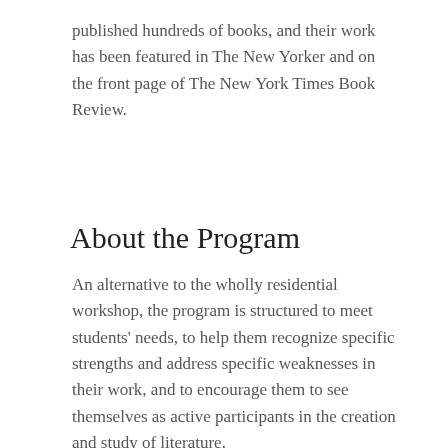published hundreds of books, and their work has been featured in The New Yorker and on the front page of The New York Times Book Review.
About the Program
An alternative to the wholly residential workshop, the program is structured to meet students' needs, to help them recognize specific strengths and address specific weaknesses in their work, and to encourage them to see themselves as active participants in the creation and study of literature.